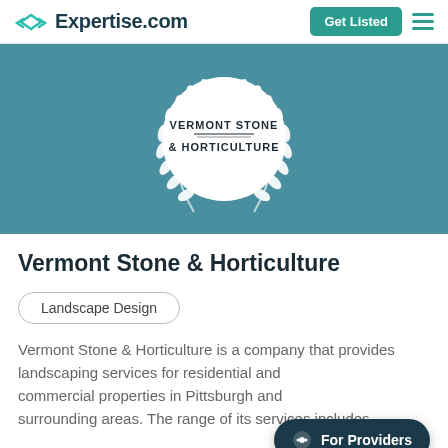Expertise.com — Get Listed
[Figure (logo): Vermont Stone & Horticulture award logo with laurel wreath on teal background banner]
Vermont Stone & Horticulture
Landscape Design
Vermont Stone & Horticulture is a company that provides landscaping services for residential and commercial properties in Pittsburgh and surrounding areas. The range of its services includes